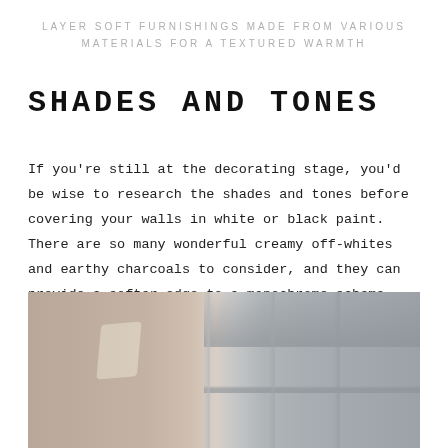LAYER SOFT FURNISHINGS MADE FROM VARIOUS MATERIALS FOR A TEXTURED WARMTH
SHADES AND TONES
If you're still at the decorating stage, you'd be wise to research the shades and tones before covering your walls in white or black paint. There are so many wonderful creamy off-whites and earthy charcoals to consider, and they can provide a softer edge to a monochrome scheme.
[Figure (photo): A photograph showing two panels — a warm taupe/brown wall on the left with a light reflection, and a window with grey-white framing panels on the right.]